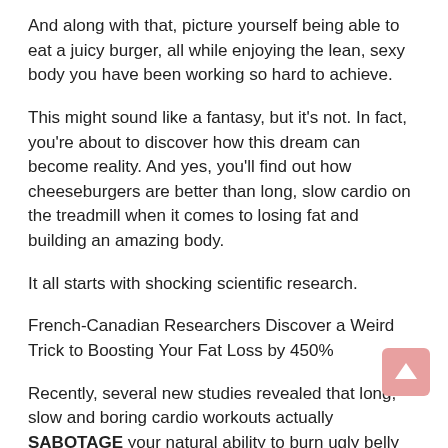And along with that, picture yourself being able to eat a juicy burger, all while enjoying the lean, sexy body you have been working so hard to achieve.
This might sound like a fantasy, but it's not. In fact, you're about to discover how this dream can become reality. And yes, you'll find out how cheeseburgers are better than long, slow cardio on the treadmill when it comes to losing fat and building an amazing body.
It all starts with shocking scientific research.
French-Canadian Researchers Discover a Weird Trick to Boosting Your Fat Loss by 450%
Recently, several new studies revealed that long, slow and boring cardio workouts actually SABOTAGE your natural ability to burn ugly belly fat.